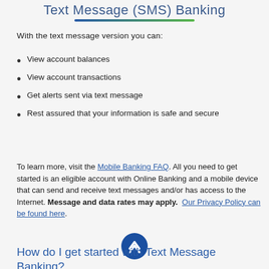Text Message (SMS) Banking
With the text message version you can:
View account balances
View account transactions
Get alerts sent via text message
Rest assured that your information is safe and secure
To learn more, visit the Mobile Banking FAQ. All you need to get started is an eligible account with Online Banking and a mobile device that can send and receive text messages and/or has access to the Internet. Message and data rates may apply. Our Privacy Policy can be found here.
How do I get started with Text Message Banking?